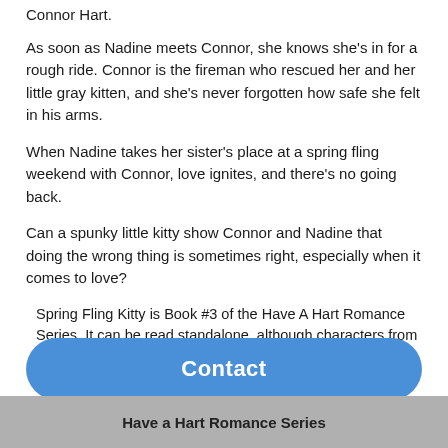Connor Hart.
As soon as Nadine meets Connor, she knows she’s in for a rough ride. Connor is the fireman who rescued her and her little gray kitten, and she’s never forgotten how safe she felt in his arms.
When Nadine takes her sister’s place at a spring fling weekend with Connor, love ignites, and there’s no going back.
Can a spunky little kitty show Connor and Nadine that doing the wrong thing is sometimes right, especially when it comes to love?
Spring Fling Kitty is Book #3 of the Have A Hart Romance Series. It can be read standalone, although characters from
Contact
Have a Hart Romance Series